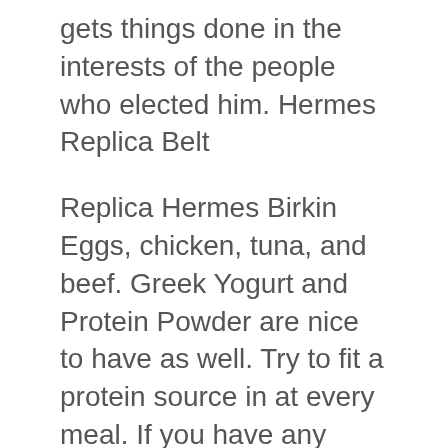gets things done in the interests of the people who elected him. Hermes Replica Belt
Replica Hermes Birkin Eggs, chicken, tuna, and beef. Greek Yogurt and Protein Powder are nice to have as well. Try to fit a protein source in at every meal. If you have any questions please feel free to leave in the comments. The study is about personality, racial discrimination, social anxiety, and different OCD subtypes. I would like to ask those of you who have the time to please fill out the survey. Replica Hermes Birkin